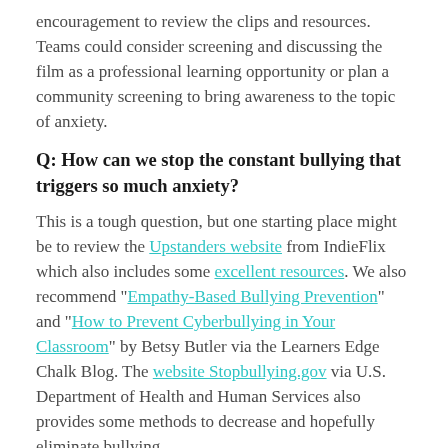encouragement to review the clips and resources. Teams could consider screening and discussing the film as a professional learning opportunity or plan a community screening to bring awareness to the topic of anxiety.
Q: How can we stop the constant bullying that triggers so much anxiety?
This is a tough question, but one starting place might be to review the Upstanders website from IndieFlix which also includes some excellent resources. We also recommend "Empathy-Based Bullying Prevention" and "How to Prevent Cyberbullying in Your Classroom" by Betsy Butler via the Learners Edge Chalk Blog. The website Stopbullying.gov via U.S. Department of Health and Human Services also provides some methods to decrease and hopefully eliminate bullying.